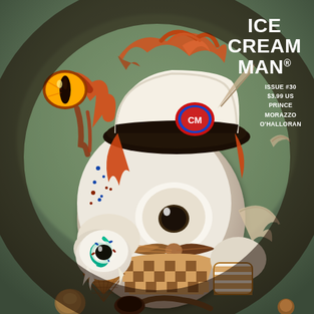[Figure (illustration): Comic book cover illustration for Ice Cream Man Issue #30. A surreal, hyper-detailed painting of a grotesque ice cream man character. The figure has a large bulbous pale body resembling an eyeball, wearing a black and cream ice cream vendor hat with a 'CM' logo badge, orange/red flowing hair, a checkered harlequin vest, and a striped bow tie. The character holds a melting ice cream cone with a teal/green swirl and white drips. A large glowing eye on an orange tentacle-like appendage floats to the upper left. Small blue and brown dots/sprinkles scatter around. A wing protrudes from the right side. The background is a muted green-grey gradient. Dark surrealist horror aesthetic.]
ICE CREAM MAN
ISSUE #30
$3.99 US
PRINCE
MORAZZO
O'HALLORAN